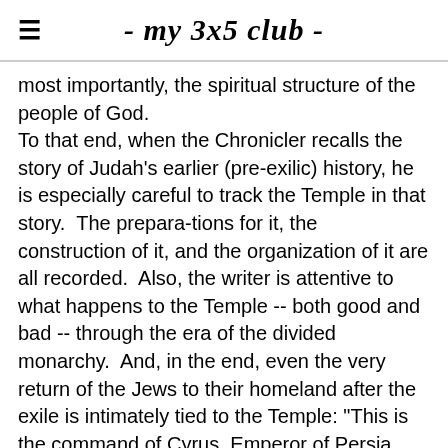- my 3x5 club -
most importantly, the spiritual structure of the people of God. To that end, when the Chronicler recalls the story of Judah's earlier (pre-exilic) history, he is especially careful to track the Temple in that story.  The prepara-tions for it, the construction of it, and the organization of it are all recorded.  Also, the writer is attentive to what happens to the Temple -- both good and bad -- through the era of the divided monarchy.  And, in the end, even the very return of the Jews to their homeland after the exile is intimately tied to the Temple: "This is the command of Cyrus, Emperor of Persia.  The Lord, the God of heaven, has made me ruler over the whole world and has given me the responsibility of building a temple for him in Jerusalem in Judah